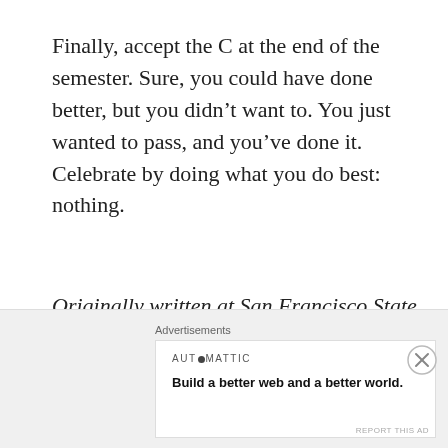Finally, accept the C at the end of the semester. Sure, you could have done better, but you didn't want to. You just wanted to pass, and you've done it. Celebrate by doing what you do best: nothing.
Originally written at San Francisco State University in 2015.
Advertisements
Advertisements
AUTOMATTIC
Build a better web and a better world.